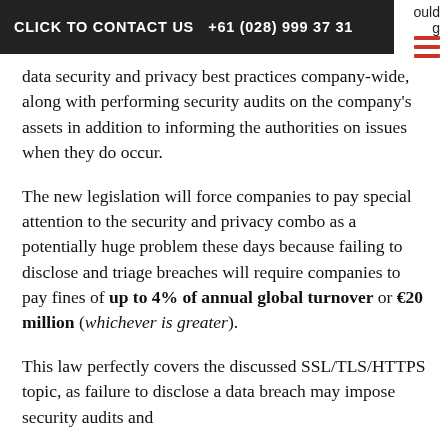CLICK TO CONTACT US  +61 (028) 999 37 31
data security and privacy best practices company-wide, along with performing security audits on the company’s assets in addition to informing the authorities on issues when they do occur.
The new legislation will force companies to pay special attention to the security and privacy combo as a potentially huge problem these days because failing to disclose and triage breaches will require companies to pay fines of up to 4% of annual global turnover or €20 million (whichever is greater).
This law perfectly covers the discussed SSL/TLS/HTTPS topic, as failure to disclose a data breach may impose security audits and